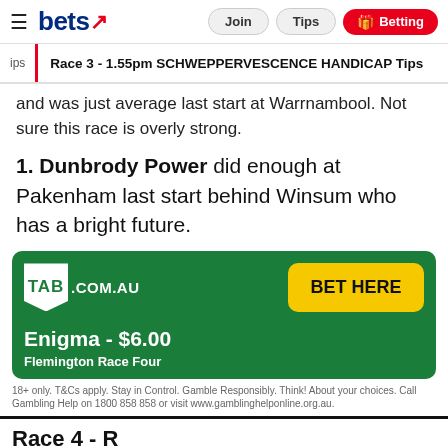bets | Join | Tips | Betting
Race 3 - 1.55pm SCHWEPPERVESCENCE HANDICAP Tips
and was just average last start at Warrnambool. Not sure this race is overly strong.
1. Dunbrody Power did enough at Pakenham last start behind Winsum who has a bright future.
[Figure (other): TAB.COM.AU advertisement banner (green background) with BET HERE yellow button, showing pick 'Enigma - $6.00' for Flemington Race Four]
18+ only. T&Cs apply. Stay in Control. Gamble Responsibly. Think! About your choices. Call Gambling Help on 1800 858 858 or visit www.gamblinghelponline.org.au.
Race 4 - ...